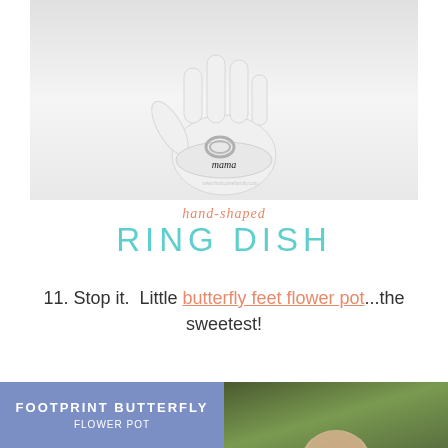[Figure (photo): A white hand-shaped clay ring dish with the word 'mama' written on it, holding silver rings, photographed against a white background.]
hand-shaped RING DISH
11. Stop it.  Little butterfly feet flower pot...the sweetest!
[Figure (photo): Two photos side by side: left shows a purple/blue tile with white text reading 'FOOTPRINT BUTTERFLY FLOWER POT'; right shows a child's head from behind against a green background.]